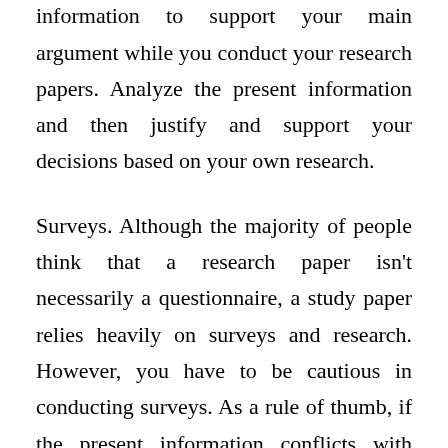inner opinion. Instead, utilize the existing information to support your main argument while you conduct your research papers. Analyze the present information and then justify and support your decisions based on your own research.
Surveys. Although the majority of people think that a research paper isn't necessarily a questionnaire, a study paper relies heavily on surveys and research. However, you have to be cautious in conducting surveys. As a rule of thumb, if the present information conflicts with your survey study paper, you then shouldn't run the survey.
Introduction. A debut is the first paragraph of your research paper. Your introduction states what you